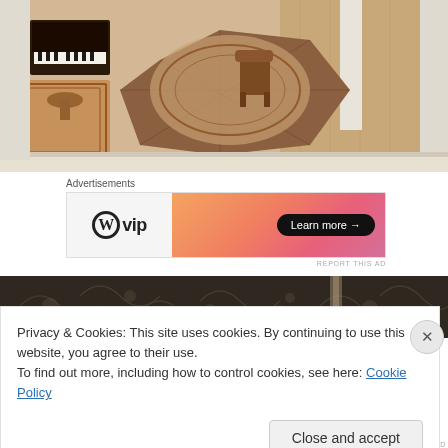[Figure (photo): Aerial/overhead view of a miniature or real room scene with a piano, ornate rug, wooden parquet flooring with geometric inlay, a chair, and white walls/doorframe. Warm wood tones and beige colors.]
Advertisements
[Figure (other): WordPress VIP advertisement banner. Left side: WordPress logo circle with W and 'vip' text on light gray background. Right side: orange-to-pink gradient with 'Learn more →' button in black rounded rectangle.]
REPORT THIS AD
[Figure (photo): Top portion of a dark background image showing an ornate dark wall or surface with swirling floral/scroll patterns and a vertical light element (possibly a door or window edge).]
Privacy & Cookies: This site uses cookies. By continuing to use this website, you agree to their use.
To find out more, including how to control cookies, see here: Cookie Policy
Close and accept
REPORT THIS AD